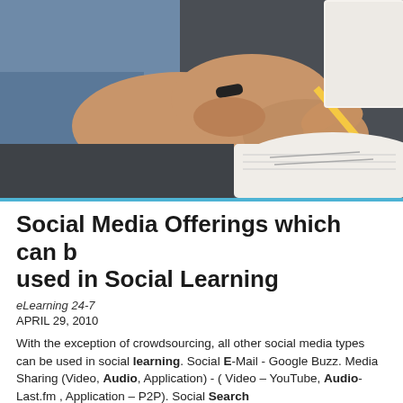[Figure (photo): Close-up photo of a person's hands writing in a notebook with a yellow and black pen, resting on a dark table surface. The person is wearing a blue shirt and a dark bracelet.]
Social Media Offerings which can b used in Social Learning
eLearning 24-7
APRIL 29, 2010
With the exception of crowdsourcing, all other social media types can be used in social learning. Social E-Mail - Google Buzz. Media Sharing (Video, Audio, Application) - ( Video – YouTube, Audio- Last.fm , Application – P2P). Social Search